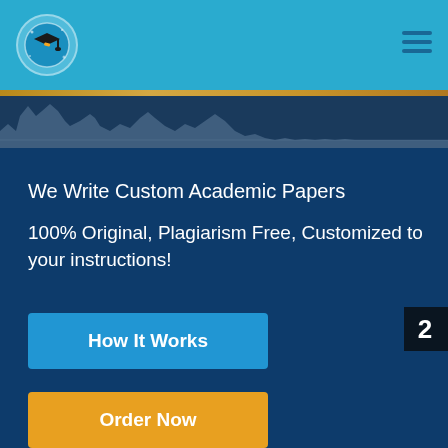[Figure (logo): Navigation bar with graduation cap logo on blue background, menu icon on right]
[Figure (illustration): Decorative skyline/cityscape silhouette band in dark blue]
We Write Custom Academic Papers
100% Original, Plagiarism Free, Customized to your instructions!
How It Works
Order Now
2